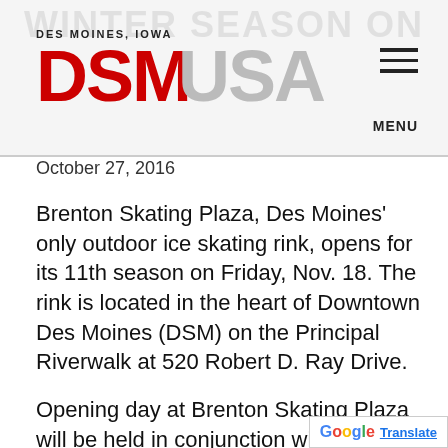[Figure (logo): DSM USA logo with 'DES MOINES, IOWA' label above and hamburger menu icon with MENU label on the right]
October 27, 2016
Brenton Skating Plaza, Des Moines' only outdoor ice skating rink, opens for its 11th season on Friday, Nov. 18. The rink is located in the heart of Downtown Des Moines (DSM) on the Principal Riverwalk at 520 Robert D. Ray Drive.
Opening day at Brenton Skating Plaza will be held in conjunction with the Historic East Village Holiday Promenade, the kickoff to the Holiday Season in Downtown DSM...